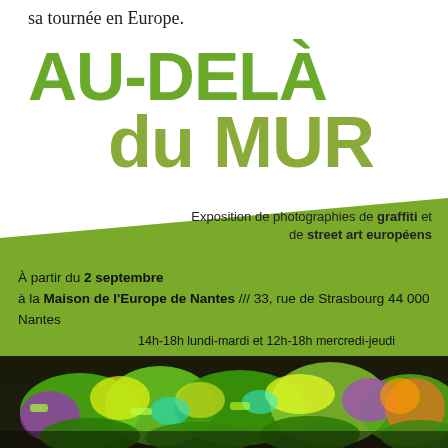sa tournée en Europe.
AU-DELÀ du MUR
Exposition de photographies de graffiti et de street art européens
À partir du 2 septembre à la Maison de l'Europe de Nantes /// 33, rue de Strasbourg 44 000 Nantes 14h-18h lundi-mardi et 12h-18h mercredi-jeudi
[Figure (photo): Colorful graffiti and street art mural with vibrant neon colors including green, yellow, purple and orange painted characters and lettering on a wall]